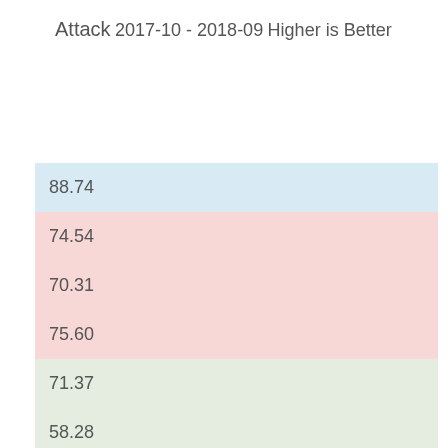Attack
2017-10 - 2018-09
Higher is Better
| 88.74 |
| 74.54 |
| 70.31 |
| 75.60 |
| 71.37 |
| 58.28 |